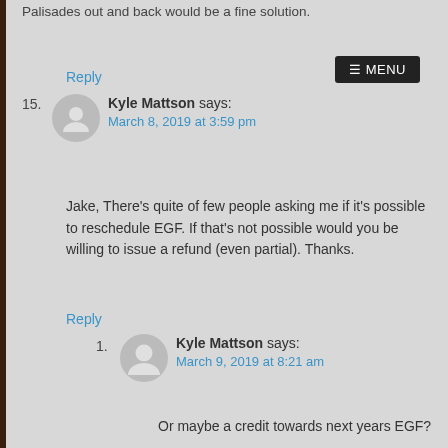Palisades out and back would be a fine solution.
Reply
15. Kyle Mattson says:
March 8, 2019 at 3:59 pm
Jake, There’s quite of few people asking me if it’s possible to reschedule EGF. If that’s not possible would you be willing to issue a refund (even partial). Thanks.
Reply
1. Kyle Mattson says:
March 9, 2019 at 8:21 am
Or maybe a credit towards next years EGF?